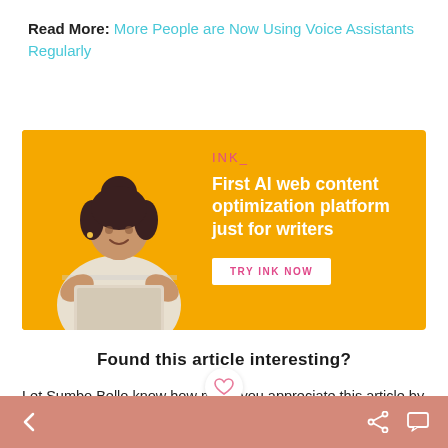Read More: More People are Now Using Voice Assistants Regularly
[Figure (infographic): Advertisement banner for INK AI writing tool. Yellow/orange background with a woman using a laptop on the left side. Text reads: INK_ | First AI web content optimization platform just for writers | TRY INK NOW button]
Found this article interesting?
Let Sumbo Bello know how much you appreciate this article by clicking the heart icon and by sharing this article on social media.
< navigation back | share icon | comment icon